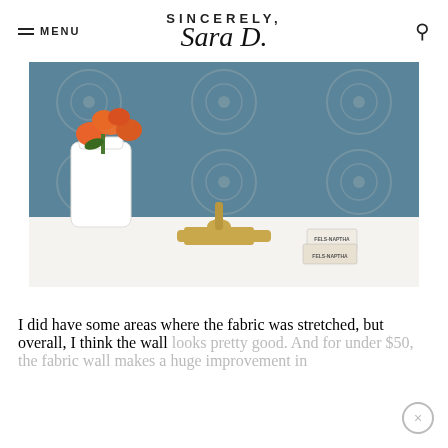SINCERELY, Sara D.
[Figure (photo): Bathroom counter with blue and white patterned wallpaper background, a white vase with orange roses, a gold faucet, and Fels-Naptha soap boxes.]
I did have some areas where the fabric was stretched, but overall, I think the wall looks pretty good. And for under $50, the fabric wall makes a huge improvement in